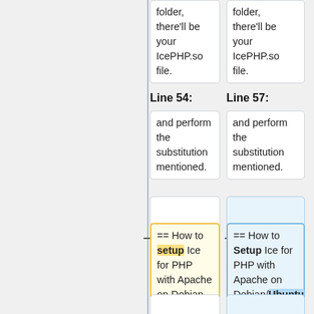folder, there'll be your IcePHP.so file.
folder, there'll be your IcePHP.so file.
Line 54:
Line 57:
and perform the substitution mentioned.
and perform the substitution mentioned.
== How to setup Ice for PHP with Apache on Debian ==
== How to Setup Ice for PHP with Apache on Debian/Ubuntu ==